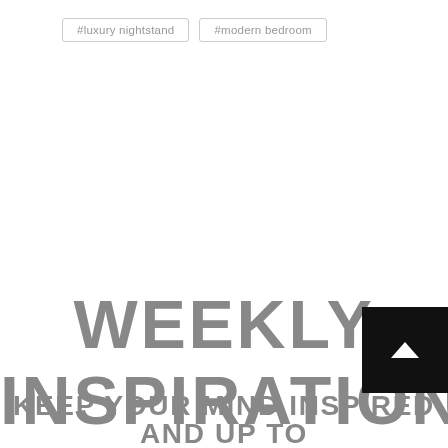#luxury nightstand
#modern bedroom
WEEKLY INSPIRATION
KEEP YOUR MIND INSPIRED AND UP TO